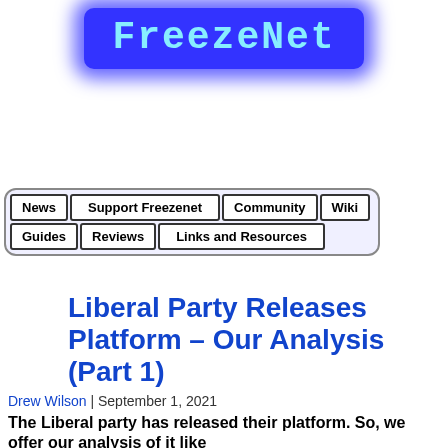[Figure (logo): FreezeNet logo: blue glowing background with cyan monospace text reading 'FreezeNet']
| News | Support Freezenet | Community | Wiki |
| Guides | Reviews | Links and Resources |  |
Liberal Party Releases Platform – Our Analysis (Part 1)
Drew Wilson | September 1, 2021
The Liberal party has released their platform. So, we offer our analysis of it like